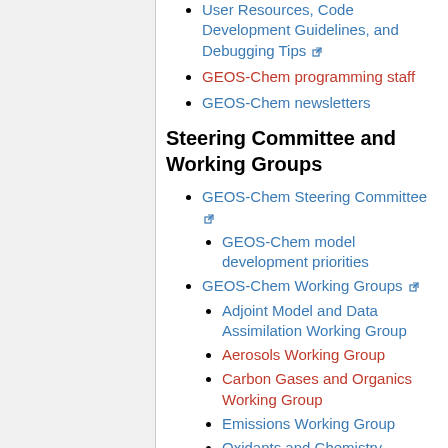User Resources, Code Development Guidelines, and Debugging Tips [external link]
GEOS-Chem programming staff
GEOS-Chem newsletters
Steering Committee and Working Groups
GEOS-Chem Steering Committee [external link]
GEOS-Chem model development priorities
GEOS-Chem Working Groups [external link]
Adjoint Model and Data Assimilation Working Group
Aerosols Working Group
Carbon Gases and Organics Working Group
Emissions Working Group
Oxidants and Chemistry Working Group
Regional Air Quality Working Group